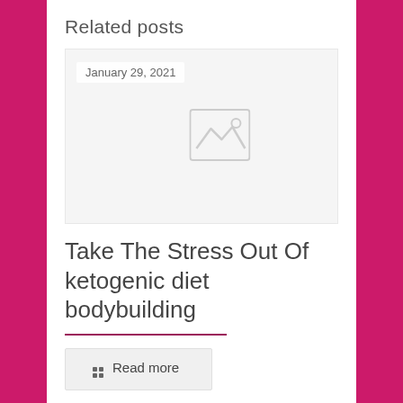Related posts
[Figure (photo): Placeholder image card with date badge 'January 29, 2021' and a grey image placeholder icon in the center]
Take The Stress Out Of ketogenic diet bodybuilding
Read more
Comments are closed.